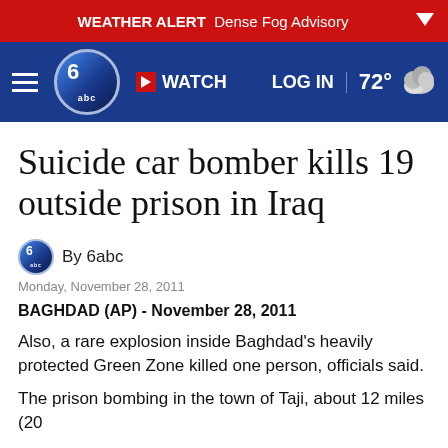WEATHER ALERT  Dense Fog Advisory
[Figure (screenshot): 6abc news navigation bar with hamburger menu, 6abc logo, WATCH button, LOG IN link, and 72° weather icon]
Suicide car bomber kills 19 outside prison in Iraq
By 6abc
Monday, November 28, 2011
BAGHDAD (AP) - November 28, 2011
Also, a rare explosion inside Baghdad's heavily protected Green Zone killed one person, officials said.
The prison bombing in the town of Taji, about 12 miles (20 kilometers) north of the capital, killed its longtime warden